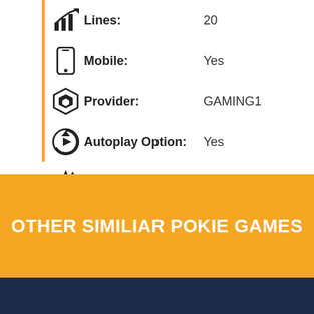Lines: 20
Mobile: Yes
Provider: GAMING1
Autoplay Option: Yes
Theme of slot: Casino
OTHER SIMILIAR POKIE GAMES
[Figure (photo): Casino/Vegas themed pokie game thumbnail image at the bottom of the page]